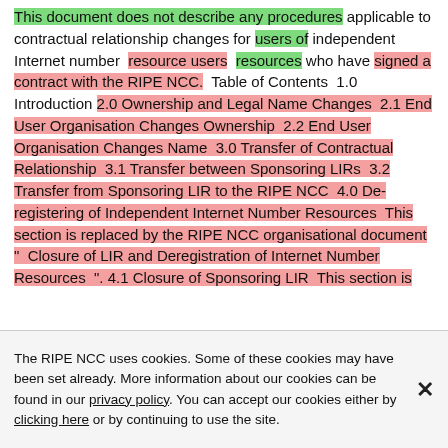This document does not describe any procedures applicable to contractual relationship changes for users of independent Internet number resource users resources who have signed a contract with the RIPE NCC.  Table of Contents  1.0 Introduction  2.0 Ownership and Legal Name Changes  2.1 End User Organisation Changes Ownership  2.2 End User Organisation Changes Name  3.0 Transfer of Contractual Relationship  3.1 Transfer between Sponsoring LIRs  3.2 Transfer from Sponsoring LIR to the RIPE NCC  4.0 De-registering of Independent Internet Number Resources  This section is replaced by the RIPE NCC organisational document " Closure of LIR and Deregistration of Internet Number Resources ". 4.1 Closure of Sponsoring LIR  This section is
The RIPE NCC uses cookies. Some of these cookies may have been set already. More information about our cookies can be found in our privacy policy. You can accept our cookies either by clicking here or by continuing to use the site.